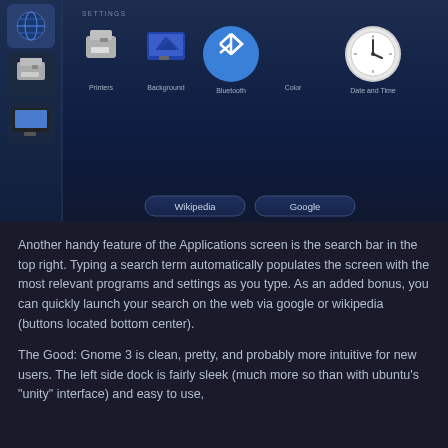[Figure (screenshot): Screenshot of a Linux GNOME 3 Settings / Applications screen with a dark blue background, showing a left sidebar with icons, a row of settings icons (Printers, Background, Bluetooth, Color, Date and Time), and two search buttons (Wikipedia, Google) at the bottom center.]
Another handy feature of the Applications screen is the search bar in the top right. Typing a search term automatically populates the screen with the most relevant programs and settings as you type. As an added bonus, you can quickly launch your search on the web via google or wikipedia (buttons located bottom center).
The Good: Gnome 3 is clean, pretty, and probably more intuitive for new users. The left side dock is fairly sleek (much more so than with ubuntu's "unity" interface) and easy to use,